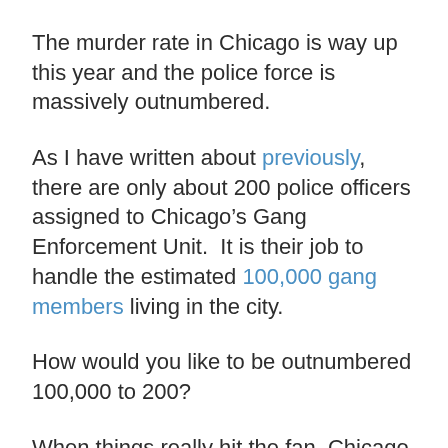The murder rate in Chicago is way up this year and the police force is massively outnumbered.
As I have written about previously, there are only about 200 police officers assigned to Chicago’s Gang Enforcement Unit.  It is their job to handle the estimated 100,000 gang members living in the city.
How would you like to be outnumbered 100,000 to 200?
When things really hit the fan, Chicago is going to be a complete and utter nightmare.
And sometimes we get a peek into how people will behave when things break down.  Just look